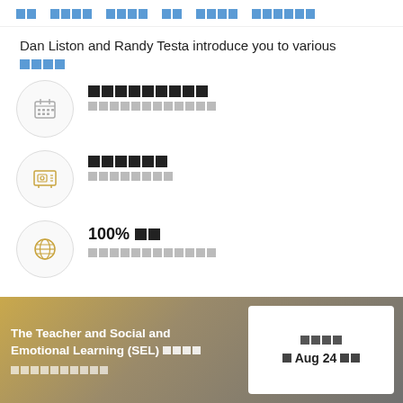Navigation bar with menu items in CJK/encoded characters
Dan Liston and Randy Testa introduce you to various
[read more link]
[icon] [CJK heading] [CJK subtext]
[icon] [CJK heading] [CJK subtext]
[globe icon] 100% [CJK] [CJK subtext]
The Teacher and Social and Emotional Learning (SEL) [CJK] [CJK subtext]
[CJK date label] Aug 24 [CJK]